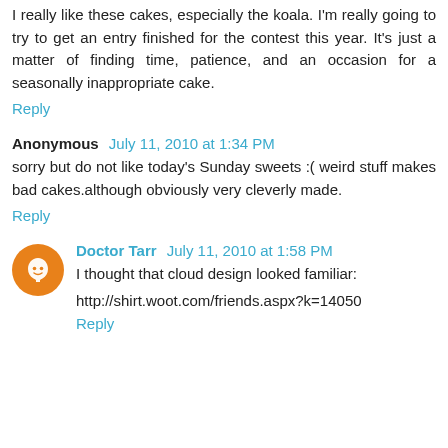I really like these cakes, especially the koala. I'm really going to try to get an entry finished for the contest this year. It's just a matter of finding time, patience, and an occasion for a seasonally inappropriate cake.
Reply
Anonymous  July 11, 2010 at 1:34 PM
sorry but do not like today's Sunday sweets :( weird stuff makes bad cakes.although obviously very cleverly made.
Reply
Doctor Tarr  July 11, 2010 at 1:58 PM
I thought that cloud design looked familiar:
http://shirt.woot.com/friends.aspx?k=14050
Reply